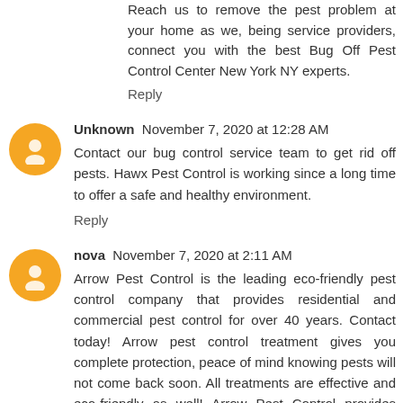Reach us to remove the pest problem at your home as we, being service providers, connect you with the best Bug Off Pest Control Center New York NY experts.
Reply
Unknown  November 7, 2020 at 12:28 AM
Contact our bug control service team to get rid off pests. Hawx Pest Control is working since a long time to offer a safe and healthy environment.
Reply
nova  November 7, 2020 at 2:11 AM
Arrow Pest Control is the leading eco-friendly pest control company that provides residential and commercial pest control for over 40 years. Contact today! Arrow pest control treatment gives you complete protection, peace of mind knowing pests will not come back soon. All treatments are effective and eco-friendly as well! Arrow Pest Control provides comprehensive integrated pest management